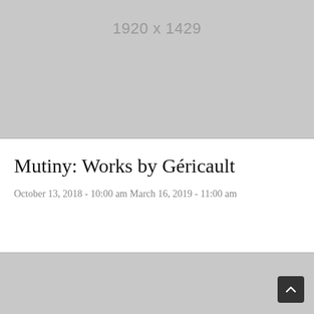[Figure (other): Gray image placeholder showing dimensions 1920 x 1429]
Mutiny: Works by Géricault
October 13, 2018 - 10:00 am March 16, 2019 - 11:00 am
[Figure (other): Gray image placeholder at bottom of page, partially visible]